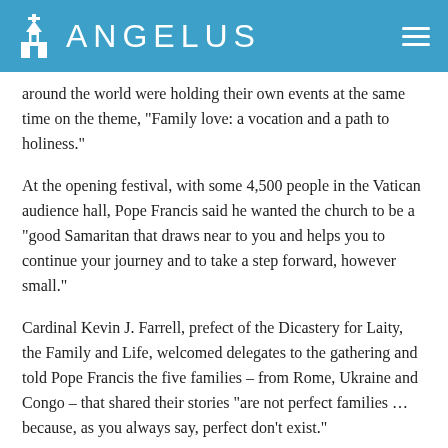ANGELUS
around the world were holding their own events at the same time on the theme, "Family love: a vocation and a path to holiness."
At the opening festival, with some 4,500 people in the Vatican audience hall, Pope Francis said he wanted the church to be a "good Samaritan that draws near to you and helps you to continue your journey and to take a step forward, however small."
Cardinal Kevin J. Farrell, prefect of the Dicastery for Laity, the Family and Life, welcomed delegates to the gathering and told Pope Francis the five families – from Rome, Ukraine and Congo – that shared their stories "are not perfect families … because, as you always say, perfect don't exist."
"They are normal families who, like so many others, in every